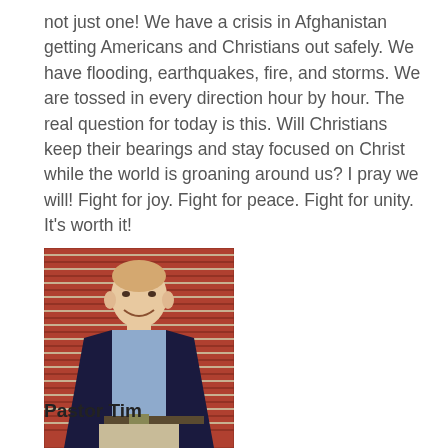not just one! We have a crisis in Afghanistan getting Americans and Christians out safely. We have flooding, earthquakes, fire, and storms. We are tossed in every direction hour by hour. The real question for today is this. Will Christians keep their bearings and stay focused on Christ while the world is groaning around us? I pray we will! Fight for joy. Fight for peace. Fight for unity. It's worth it!
[Figure (photo): A middle-aged man wearing a dark blazer over a light blue checkered shirt, standing in front of a red brick wall, smiling at the camera.]
Pastor Tim